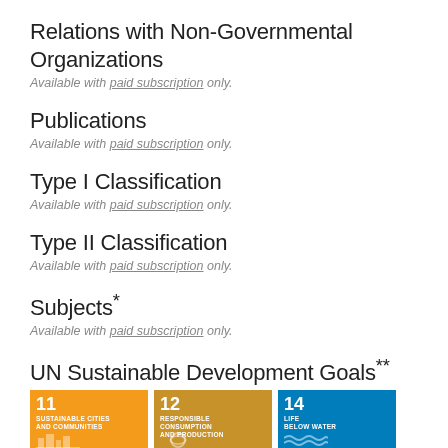Relations with Non-Governmental Organizations
Available with paid subscription only.
Publications
Available with paid subscription only.
Type I Classification
Available with paid subscription only.
Type II Classification
Available with paid subscription only.
Subjects*
Available with paid subscription only.
UN Sustainable Development Goals**
[Figure (infographic): Three SDG tiles: 11 Sustainable Cities and Communities (orange), 12 Responsible Consumption and Production (gold/orange), 14 Life Below Water (blue)]